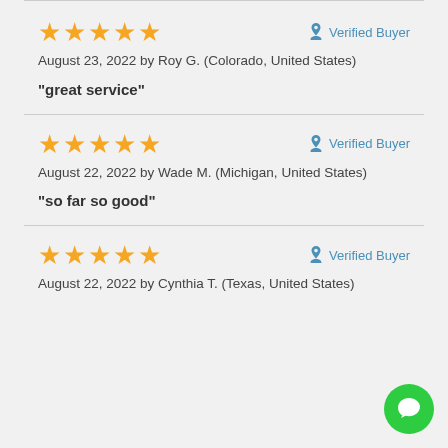★★★★★ Verified Buyer
August 23, 2022 by Roy G. (Colorado, United States)
"great service"
★★★★★ Verified Buyer
August 22, 2022 by Wade M. (Michigan, United States)
"so far so good"
★★★★★ Verified Buyer
August 22, 2022 by Cynthia T. (Texas, United States)